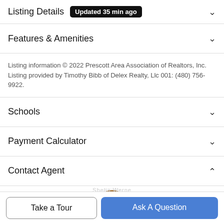Listing Details  Updated 35 min ago
Features & Amenities
Listing information © 2022 Prescott Area Association of Realtors, Inc. Listing provided by Timothy Bibb of Delex Realty, Llc 001: (480) 756-9922.
Schools
Payment Calculator
Contact Agent
[Figure (photo): Agent profile photo, partially visible at bottom of page]
Take a Tour
Ask A Question